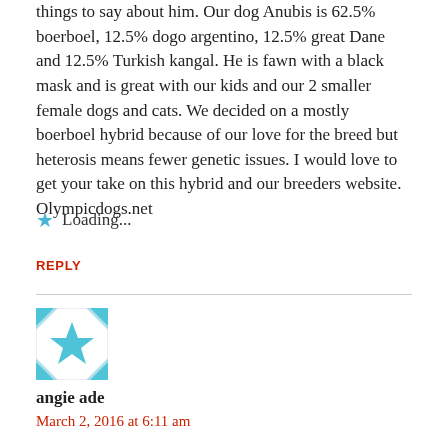things to say about him. Our dog Anubis is 62.5% boerboel, 12.5% dogo argentino, 12.5% great Dane and 12.5% Turkish kangal. He is fawn with a black mask and is great with our kids and our 2 smaller female dogs and cats. We decided on a mostly boerboel hybrid because of our love for the breed but heterosis means fewer genetic issues. I would love to get your take on this hybrid and our breeders website. Olympicdogs.net
Loading...
REPLY
[Figure (illustration): Gravatar avatar image - teal/cyan geometric star pattern on white background]
angie ade
March 2, 2016 at 6:11 am